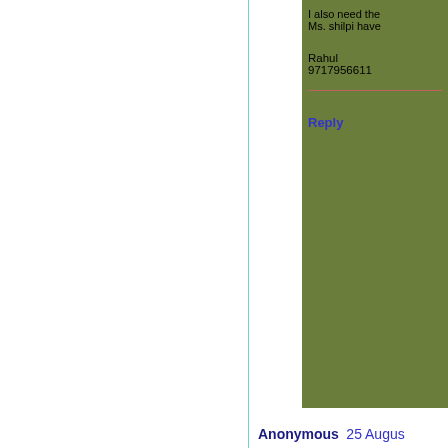I also need the Ms. shilpi have

Rahul
9717956611
Reply
Anonymous  25 August
Thank you. Information
Reply
[Figure (illustration): Blogger profile avatar icon - orange circle with white B letter]
Kavita Pathak  25 Aug
The Mayoor school is n
Reply
[Figure (illustration): Small profile avatar at bottom]
veenoo  25 August